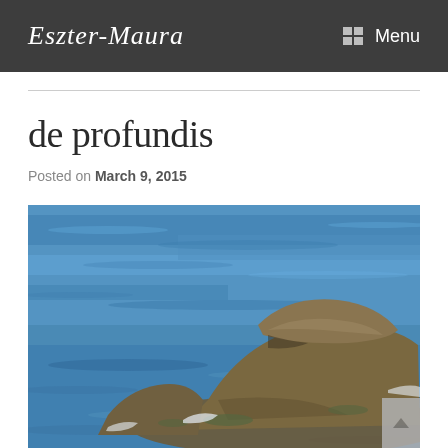Eszter-Maura   Menu
de profundis
Posted on March 9, 2015
[Figure (photo): Photograph of rocky outcropping emerging from blue sea water, with waves visible around the rocks. Rocks appear brownish-grey with some algae. Background is bright blue choppy ocean water.]